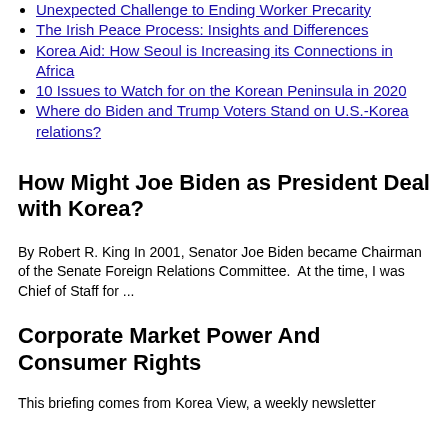Unexpected Challenge to Ending Worker Precarity
The Irish Peace Process: Insights and Differences
Korea Aid: How Seoul is Increasing its Connections in Africa
10 Issues to Watch for on the Korean Peninsula in 2020
Where do Biden and Trump Voters Stand on U.S.-Korea relations?
How Might Joe Biden as President Deal with Korea?
By Robert R. King In 2001, Senator Joe Biden became Chairman of the Senate Foreign Relations Committee.  At the time, I was Chief of Staff for ...
Corporate Market Power And Consumer Rights
This briefing comes from Korea View, a weekly newsletter